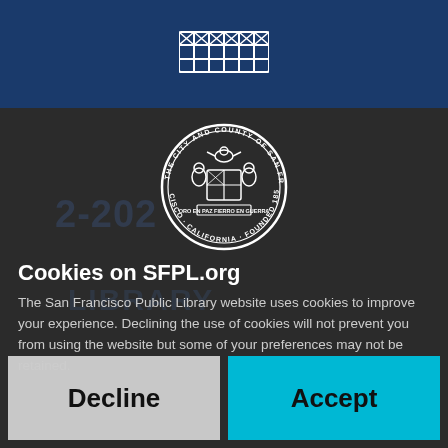[Figure (logo): SFPL grid/pattern logo in white on dark blue header bar]
[Figure (logo): Seal of the City and County of San Francisco — circular seal with eagle, shield, and text around the border, white on dark background]
Cookies on SFPL.org
The San Francisco Public Library website uses cookies to improve your experience. Declining the use of cookies will not prevent you from using the website but some of your preferences may not be retained.
Decline
Accept